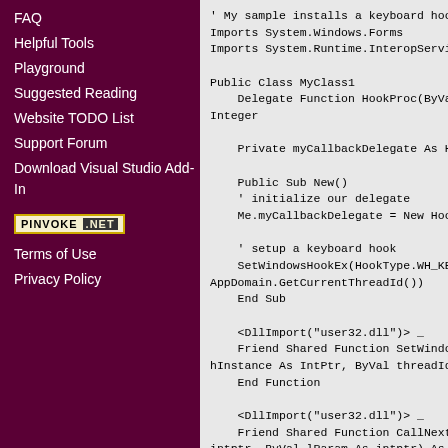FAQ
Helpful Tools
Playground
Suggested Reading
Website TODO List
Support Forum
Download Visual Studio Add-In
[Figure (logo): PINVOKE.NET badge logo]
Terms of Use
Privacy Policy
' My sample installs a keyboard hook
Imports System.Windows.Forms
Imports System.Runtime.InteropServices

Public Class MyClass1
    Delegate Function HookProc(ByVal code As Integer

    Private myCallbackDelegate As HookProc

    Public Sub New()
    ' initialize our delegate
    Me.myCallbackDelegate = New HookPro

    ' setup a keyboard hook
    SetWindowsHookEx(HookType.WH_KE
    AppDomain.GetCurrentThreadId())
    End Sub

    <DllImport("user32.dll")> _
    Friend Shared Function SetWindowsHook
    hInstance As IntPtr, ByVal threadId As Integ
    End Function

    <DllImport("user32.dll")> _
    Friend Shared Function CallNextHookEx(
    intptr, ByVal lParam As intptr) As Integer
    End Function